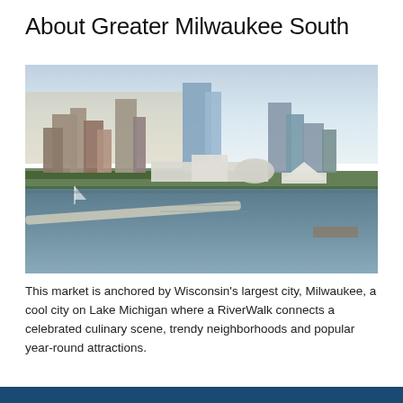About Greater Milwaukee South
[Figure (photo): Aerial photograph of Milwaukee skyline and waterfront on Lake Michigan, showing downtown skyscrapers, the Milwaukee Art Museum, harbor, marina with breakwater, and calm water reflections at dusk]
This market is anchored by Wisconsin's largest city, Milwaukee, a cool city on Lake Michigan where a RiverWalk connects a celebrated culinary scene, trendy neighborhoods and popular year-round attractions.